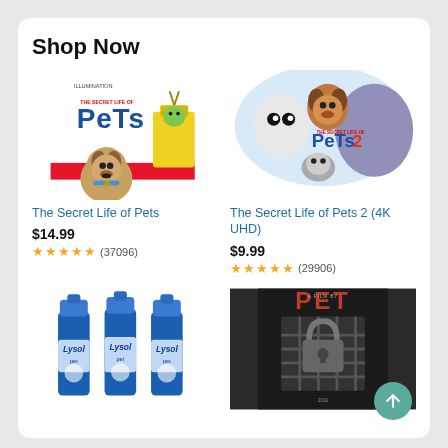Shop Now
[Figure (illustration): Movie poster for The Secret Life of Pets - animated dog with Illumination logo]
The Secret Life of Pets
$14.99
★★★★★ (37096)
[Figure (illustration): Movie poster for The Secret Life of Pets 2 (4K UHD) - animated animal characters]
The Secret Life of Pets 2 (4K UHD)
$9.99
★★★★★ (29906)
[Figure (photo): Three Lysol pet spray bottles in blue]
[Figure (photo): PET movie poster - horror movie with cage/lock imagery]